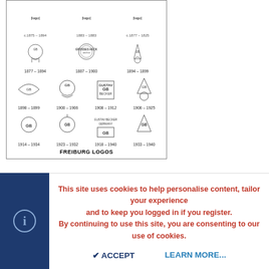[Figure (illustration): A framed grid of Freiburg logos showing different heraldic and typographic marks used from approximately 1852 to 1940, arranged in rows with date ranges beneath each logo. Caption reads FREIBURG LOGOS.]
Additional information and comments for each logo shown, starting upper left and progressing by rows. PLEASE NOTE the overlaps of various logos within given timelines, in some instances several logos were in active use at the same time:
1852 - 1877: GB anchor logo by itself. Documented to have been used within the area — possible earliest dated data
This site uses cookies to help personalise content, tailor your experience and to keep you logged in if you register.
By continuing to use this site, you are consenting to our use of cookies.
ACCEPT    LEARN MORE...